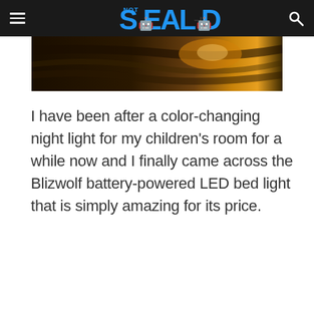NOT SEALED - Android blog header with hamburger menu and search icon
[Figure (photo): Dark atmospheric photo of a bed or bedding with warm light in the background, partially cropped at top]
I have been after a color-changing night light for my children's room for a while now and I finally came across the Blizwolf battery-powered LED bed light that is simply amazing for its price.